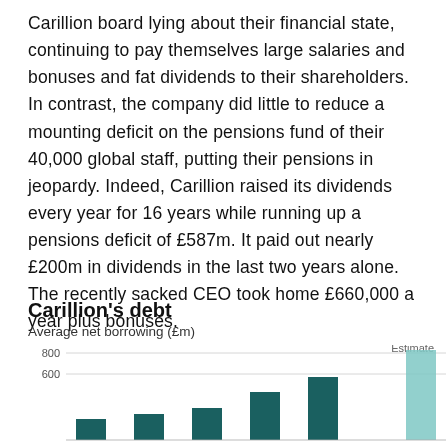Carillion board lying about their financial state, continuing to pay themselves large salaries and bonuses and fat dividends to their shareholders. In contrast, the company did little to reduce a mounting deficit on the pensions fund of their 40,000 global staff, putting their pensions in jeopardy. Indeed, Carillion raised its dividends every year for 16 years while running up a pensions deficit of £587m. It paid out nearly £200m in dividends in the last two years alone. The recently sacked CEO took home £660,000 a year plus bonuses.
Carillion's debt
Average net borrowing (£m)
[Figure (bar-chart): Carillion's debt]